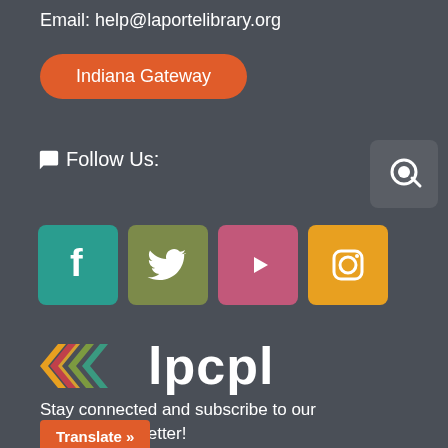Email: help@laportelibrary.org
Indiana Gateway
💬 Follow Us:
[Figure (logo): Patreon-style icon button (gray rounded square with tag/label icon)]
[Figure (infographic): Four social media icons: Facebook (teal), Twitter (olive), YouTube (pink), Instagram (orange/yellow)]
[Figure (logo): LPCPL logo with colorful chevron arrows and bold white lpcpl text]
Stay connected and subscribe to our monthly newsletter!
Translate »